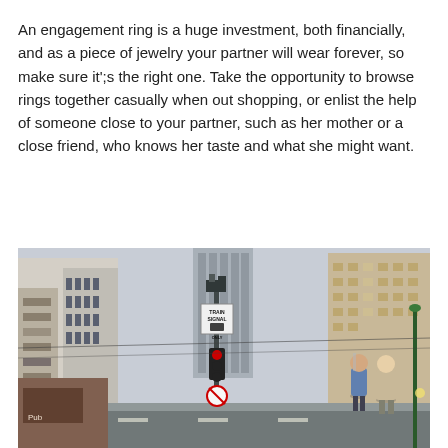An engagement ring is a huge investment, both financially, and as a piece of jewelry your partner will wear forever, so make sure it';s the right one. Take the opportunity to browse rings together casually when out shopping, or enlist the help of someone close to your partner, such as her mother or a close friend, who knows her taste and what she might want.
[Figure (photo): Street scene in a city with tall buildings on both sides. A 'Train Signal Only' sign and a traffic signal with a red stop light are visible in the center. A no-turn sign is below. A couple — a man in a blue jacket and a woman in a beige jacket — are walking across the street on the right side.]